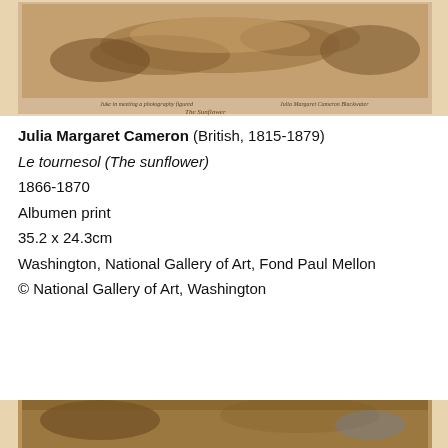[Figure (photo): Sepia-toned albumen print photograph showing a reclining figure draped in fabric, with handwritten inscription below reading 'The Sunflower'. Top portion of artwork image.]
Julia Margaret Cameron (British, 1815-1879)
Le tournesol (The sunflower)
1866-1870
Albumen print
35.2 x 24.3cm
Washington, National Gallery of Art, Fond Paul Mellon
© National Gallery of Art, Washington
[Figure (photo): Bottom portion of a sepia-toned albumen print photograph, showing the lower section of another artwork image.]